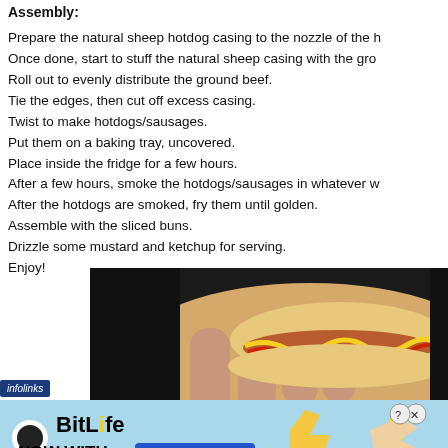Assembly:
Prepare the natural sheep hotdog casing to the nozzle of the h
Once done, start to stuff the natural sheep casing with the gro
Roll out to evenly distribute the ground beef.
Tie the edges, then cut off excess casing.
Twist to make hotdogs/sausages.
Put them on a baking tray, uncovered.
Place inside the fridge for a few hours.
After a few hours, smoke the hotdogs/sausages in whatever w
After the hotdogs are smoked, fry them until golden.
Assemble with the sliced buns.
Drizzle some mustard and ketchup for serving.
Enjoy!
[Figure (photo): A hand holding a hotdog in a bun drizzled with mustard and ketchup spirals]
[Figure (screenshot): BitLife advertisement banner - NOW WITH GOD MODE]